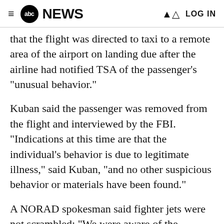abc NEWS  LOG IN
that the flight was directed to taxi to a remote area of the airport on landing due after the airline had notified TSA of the passenger's "unusual behavior."
Kuban said the passenger was removed from the flight and interviewed by the FBI. "Indications at this time are that the individual's behavior is due to legitimate illness," said Kuban, "and no other suspicious behavior or materials have been found."
A NORAD spokesman said fighter jets were not scrambled: "We were aware of the situation, but military assistance was not requested."